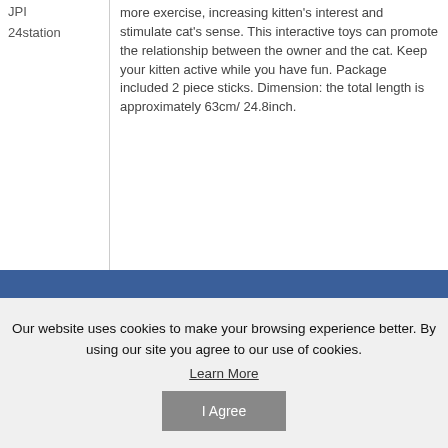JPI
24station
more exercise, increasing kitten's interest and stimulate cat's sense. This interactive toys can promote the relationship between the owner and the cat. Keep your kitten active while you have fun. Package included 2 piece sticks. Dimension: the total length is approximately 63cm/ 24.8inch.
CONNECT WITH US
Our website uses cookies to make your browsing experience better. By using our site you agree to our use of cookies.
Learn More
I Agree